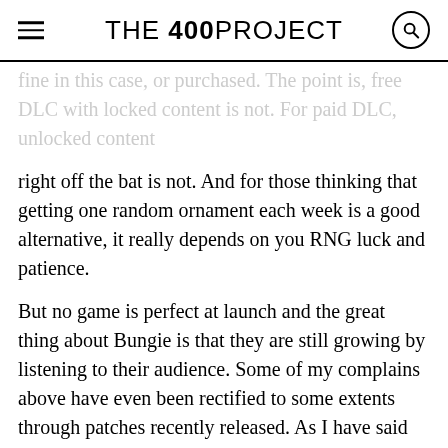THE 400 PROJECT
fine in this case, or purchased. The point is, free DLC with locked content is not. For paid DLC, unlocked content right off the bat is not. And for those thinking that getting one random ornament each week is a good alternative, it really depends on you RNG luck and patience.
But no game is perfect at launch and the great thing about Bungie is that they are still growing by listening to their audience. Some of my complains above have even been rectified to some extents through patches recently released. As I have said before, this is one of the feature that makes Destiny stand above other games that are sitting on my game shelf.
And I may be giving the game more flak than it deserves because all in all, I have really enjoyed playing since the